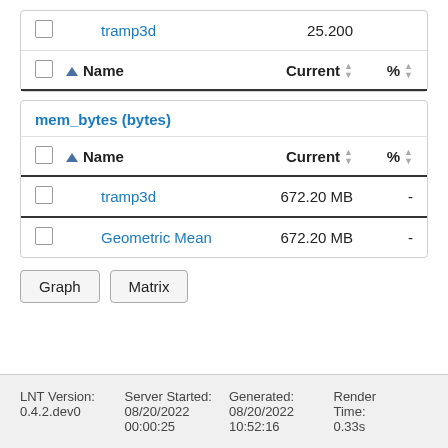|  |  | Name | Current | % |
| --- | --- | --- | --- | --- |
|  | ▲ | tramp3d | 25.200 |  |
mem_bytes (bytes)
|  |  | Name | Current | % |
| --- | --- | --- | --- | --- |
|  |  | tramp3d | 672.20 MB | - |
|  |  | Geometric Mean | 672.20 MB | - |
Graph  Matrix
LNT Version: 0.4.2.dev0  Server Started: 08/20/2022 00:00:25  Generated: 08/20/2022 10:52:16  Render Time: 0.33s